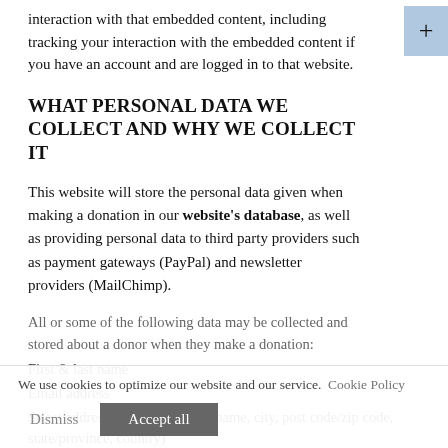interaction with that embedded content, including tracking your interaction with the embedded content if you have an account and are logged in to that website.
WHAT PERSONAL DATA WE COLLECT AND WHY WE COLLECT IT
This website will store the personal data given when making a donation in our website's database, as well as providing personal data to third party providers such as payment gateways (PayPal) and newsletter providers (MailChimp).
All or some of the following data may be collected and stored about a donor when they make a donation:
First & last name
Email address
Street address (street number & name, city, post code/zip code, state/province, country)